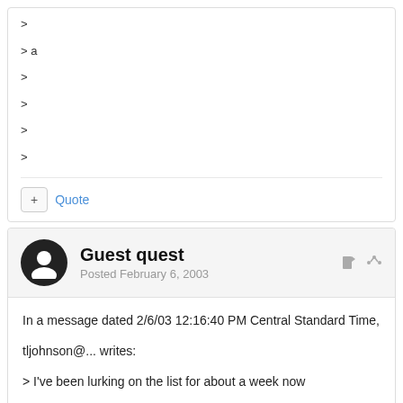>
> a
>
>
>
>
+ Quote
Guest quest
Posted February 6, 2003
In a message dated 2/6/03 12:16:40 PM Central Standard Time,
tljohnson@... writes:
> I've been lurking on the list for about a week now